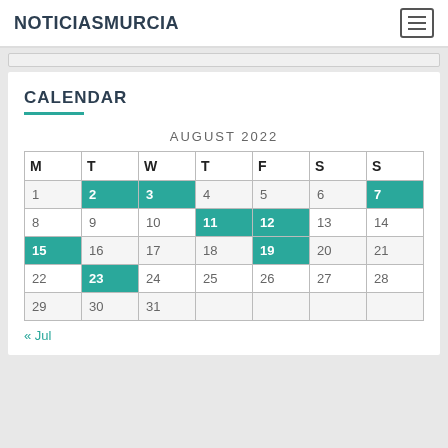NOTICIASMURCIA
CALENDAR
| M | T | W | T | F | S | S |
| --- | --- | --- | --- | --- | --- | --- |
| 1 | 2 | 3 | 4 | 5 | 6 | 7 |
| 8 | 9 | 10 | 11 | 12 | 13 | 14 |
| 15 | 16 | 17 | 18 | 19 | 20 | 21 |
| 22 | 23 | 24 | 25 | 26 | 27 | 28 |
| 29 | 30 | 31 |  |  |  |  |
« Jul